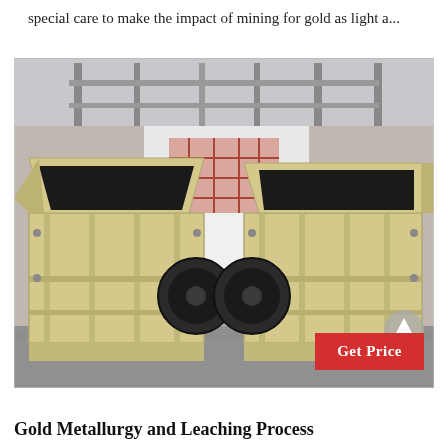special care to make the impact of mining for gold as light a...
[Figure (photo): Two large yellow industrial impact crushers/hammer mills sitting side by side on a concrete floor inside a factory/warehouse building. The machines have open-top feed hoppers and large black drive wheels/pulleys visible between them.]
Get Price
Gold Metallurgy and Leaching Process